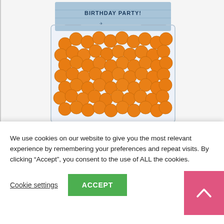[Figure (photo): Product photo of an airplane birthday party favor bag filled with orange candy balls, with a blue airplane-themed header card reading 'BIRTHDAY PARTY!'. Watermark: paperandcake.com]
Airplane Party Favor Kit for 12
We use cookies on our website to give you the most relevant experience by remembering your preferences and repeat visits. By clicking “Accept”, you consent to the use of ALL the cookies.
Cookie settings | ACCEPT